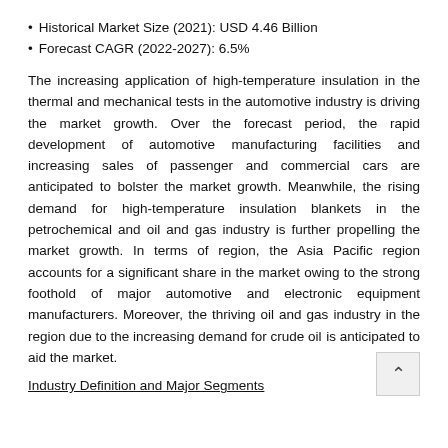Historical Market Size (2021): USD 4.46 Billion
Forecast CAGR (2022-2027): 6.5%
The increasing application of high-temperature insulation in the thermal and mechanical tests in the automotive industry is driving the market growth. Over the forecast period, the rapid development of automotive manufacturing facilities and increasing sales of passenger and commercial cars are anticipated to bolster the market growth. Meanwhile, the rising demand for high-temperature insulation blankets in the petrochemical and oil and gas industry is further propelling the market growth. In terms of region, the Asia Pacific region accounts for a significant share in the market owing to the strong foothold of major automotive and electronic equipment manufacturers. Moreover, the thriving oil and gas industry in the region due to the increasing demand for crude oil is anticipated to aid the market.
Industry Definition and Major Segments